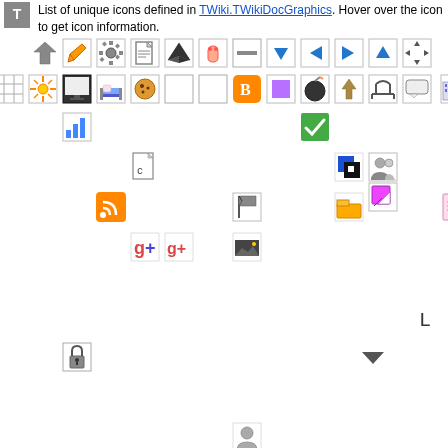List of unique icons defined in TWiki.TWikiDocGraphics. Hover over the icon to get icon information.
[Figure (infographic): Grid of various small toolbar/application icons arranged in rows and scattered positions across the page. Icons include arrows, document icons, social media icons (Facebook, Google+, RSS), lock icons, search, chart icons, and many others used in a TWiki documentation system.]